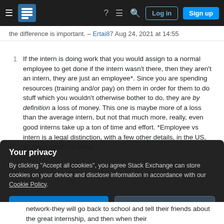[Figure (screenshot): Navigation bar with hamburger menu, Stack Exchange logo, help icon, chat icon, search icon, Log in button, and Sign up button on dark background]
the difference is important. – Ertai87 Aug 24, 2021 at 14:55
If the intern is doing work that you would assign to a normal employee to get done if the intern wasn't there, then they aren't an intern, they are just an employee*. Since you are spending resources (training and/or pay) on them in order for them to do stuff which you wouldn't otherwise bother to do, they are by definition a loss of money. This one is maybe more of a loss than the average intern, but not that much more, really, even good interns take up a ton of time and effort. *Employee vs intern is a legal distinction, with a few other details, in the US, so that's what I'm using
Your privacy
By clicking "Accept all cookies", you agree Stack Exchange can store cookies on your device and disclose information in accordance with our Cookie Policy.
Accept all cookies
Customize settings
network-they will go back to school and tell their friends about the great internship, and then when their